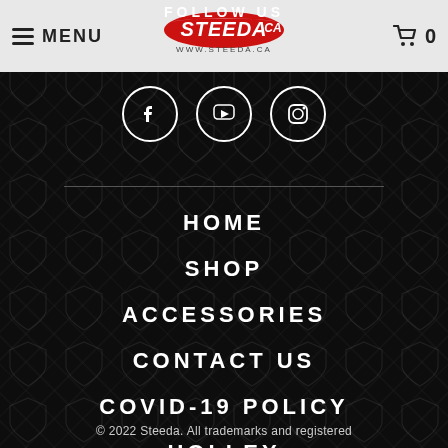≡ MENU | STEEDA.CA www.steeda.ca | 🛒 0
FOLLOW US
[Figure (illustration): Three circular social media icons: Facebook, YouTube, Instagram, white outlines on dark background]
HOME
SHOP
ACCESSORIES
CONTACT US
COVID-19 POLICY
HOLLEY
© 2022 Steeda. All trademarks and registered